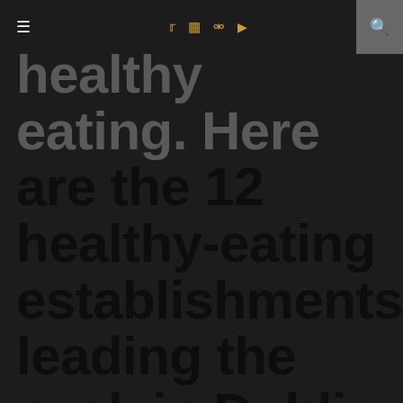≡  f  𝕿  ☷  ⊕  ▶  🔍
healthy eating. Here are the 12 healthy-eating establishments leading the pack in Dublin for 2016.
Happy Pear: a trip here is the health nut's (present company included) version of going to Willy Wonka's Chocolate factory. They have a grocery shop with organic vegetables and foods, along with a fantastic restaurant that